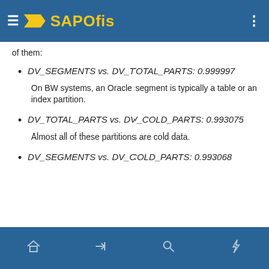SAPOfis
of them:
DV_SEGMENTS vs. DV_TOTAL_PARTS: 0.999997
On BW systems, an Oracle segment is typically a table or an index partition.
DV_TOTAL_PARTS vs. DV_COLD_PARTS: 0.993075
Almost all of these partitions are cold data.
DV_SEGMENTS vs. DV_COLD_PARTS: 0.993068
Navigation bar with home, login, search, and lightning icons